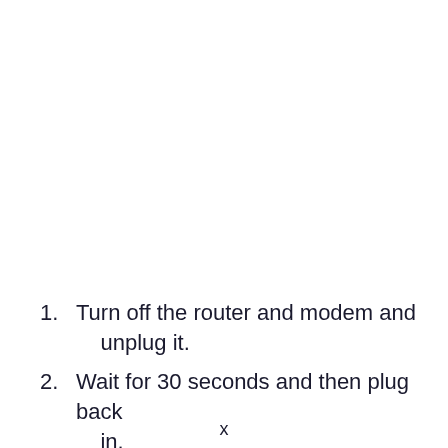Turn off the router and modem and unplug it.
Wait for 30 seconds and then plug back in.